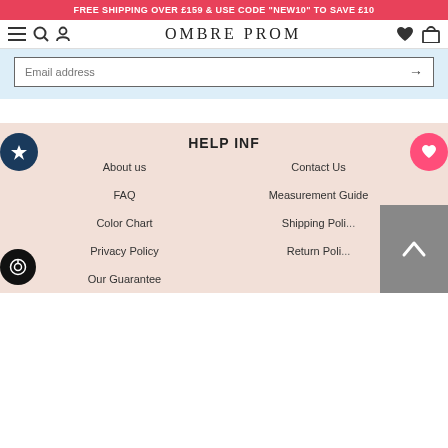FREE SHIPPING OVER £159 & USE CODE "NEW10" TO SAVE £10
[Figure (screenshot): OmbreProm website navigation bar with hamburger menu, search, user icons on left, brand logo OMBREPROM center, heart and cart icons on right]
[Figure (screenshot): Email address input field with arrow button on light blue background]
HELP INF
About us
Contact Us
FAQ
Measurement Guide
Color Chart
Shipping Poli...
Privacy Policy
Return Poli...
Our Guarantee